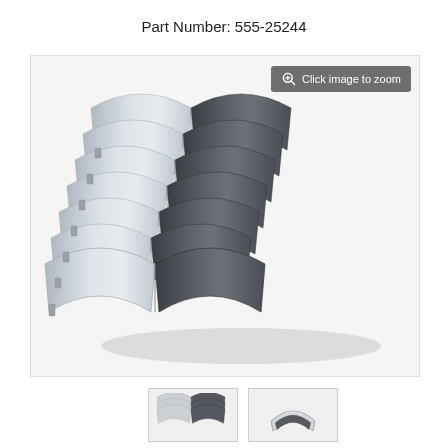Part Number: 555-25244
[Figure (photo): Set of engine main bearing shells (half-shell bearings), showing multiple pairs of silver/aluminum upper shells and dark grey/graphite lower shells arranged in a diagonal stack formation. The bearings are semi-circular in shape, used in engine crankshaft applications.]
[Figure (photo): Thumbnail 1: Small image showing the set of bearing shells stacked together viewed from a slight angle, similar to main image but smaller.]
[Figure (photo): Thumbnail 2: Small image showing a close-up of a single pair of bearing shells (one silver, one dark), viewed from a straight-on angle.]